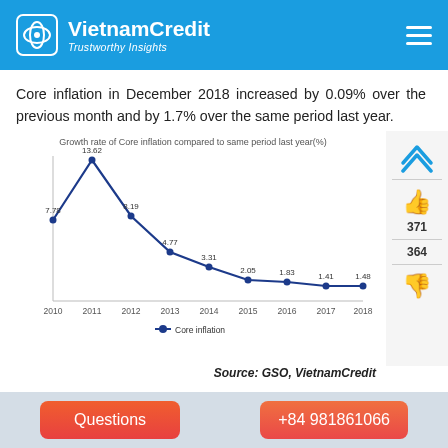VietnamCredit — Trustworthy Insights
Core inflation in December 2018 increased by 0.09% over the previous month and by 1.7% over the same period last year.
[Figure (line-chart): Growth rate of Core inflation compared to same period last year(%)]
Source: GSO, VietnamCredit
Average core inflation in 2017 rose by 1.48% compared to that in